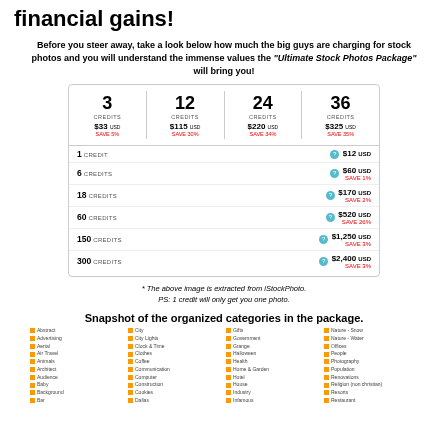financial gains!
Before you steer away, take a look below how much the big guys are charging for stock photos and you will understand the immense values the "Ultimate Stock Photos Package" will bring you!
[Figure (table-as-image): iStockPhoto pricing table showing credit packages: 3 credits $33 USD SAVE 5%, 12 credits $115 USD SAVE 30%, 24 credits $220 USD SAVE 34%, 36 credits $325 USD SAVE 35%. Also individual credit rows: 1 credit $12 USD, 6 credits $60 USD SAVE 1%, 18 credits $170 USD SAVE 2%, 60 credits $520 USD SAVE 26%, 150 credits $1,250 USD SAVE 3%, 300 credits $2,400 USD SAVE 3%.]
* The above image is extracted from iStockPhoto. PS: 1 credit will only get you one photo.
Snapshot of the organized categories in the package.
[Figure (infographic): Grid of category names in 4 columns with orange folder icons: Abstract, Advertising, Aerial, Air Travel, Animals, Architect, Audience, Baby, Background, Bar; City, City Lights, Clock & Time, Clothes, Coffee, Communication, Computer, Construction, Cookies, Dallas; Gifts, Government, Grange, Halloween, Health, Home & Garden, Hotel, House, Industry, Infamous; Nature-Snow, Nature-Water, Offices, People, Photography, Population, Renovations, Religion (non-christian), Resorts, Restaurant]